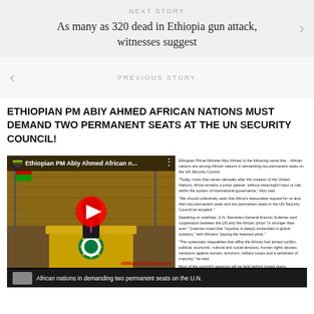NEXT STORY
As many as 320 dead in Ethiopia gun attack, witnesses suggest
PREVIOUS STORY
ETHIOPIAN PM ABIY AHMED AFRICAN NATIONS MUST DEMAND TWO PERMANENT SEATS AT THE UN SECURITY COUNCIL!
[Figure (screenshot): YouTube video thumbnail showing Ethiopian PM Abiy Ahmed speaking at a podium with African Union logo, alongside article text excerpt from ethiopiantribune.com]
African nations in demanding two permanent seats on the U.N.